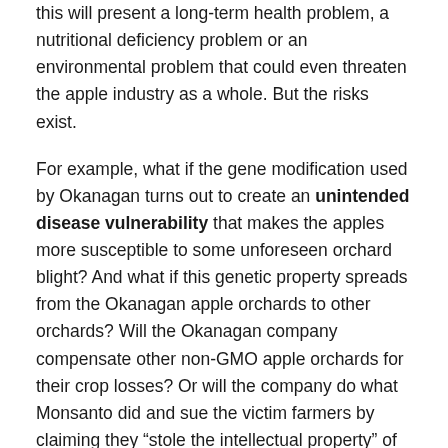this will present a long-term health problem, a nutritional deficiency problem or an environmental problem that could even threaten the apple industry as a whole. But the risks exist.
For example, what if the gene modification used by Okanagan turns out to create an unintended disease vulnerability that makes the apples more susceptible to some unforeseen orchard blight? And what if this genetic property spreads from the Okanagan apple orchards to other orchards? Will the Okanagan company compensate other non-GMO apple orchards for their crop losses? Or will the company do what Monsanto did and sue the victim farmers by claiming they “stole the intellectual property” of Monsanto via genetic pollution?
I’ll stick with Mother Nature’s apples,